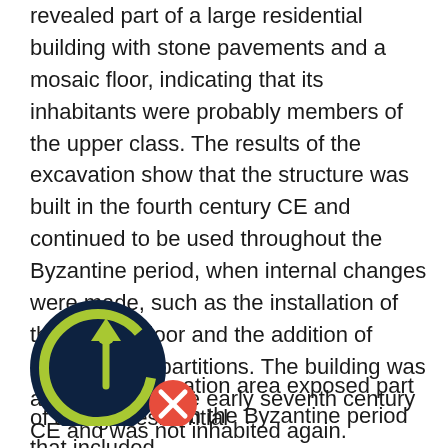revealed part of a large residential building with stone pavements and a mosaic floor, indicating that its inhabitants were probably members of the upper class. The results of the excavation show that the structure was built in the fourth century CE and continued to be used throughout the Byzantine period, when internal changes were made, such as the installation of the mosaic floor and the addition of interior room partitions. The building was abandoned in the early seventh century CE and was not inhabited again.
Previous excavations conducted next to the current [logo]ation area exposed part of a large residential [logo]m the Byzantine period that included [logo]...
[Figure (logo): A circular logo with a dark navy background featuring an upward-pointing arrow with a person/figure silhouette, and a small circle with an X symbol at the bottom right.]